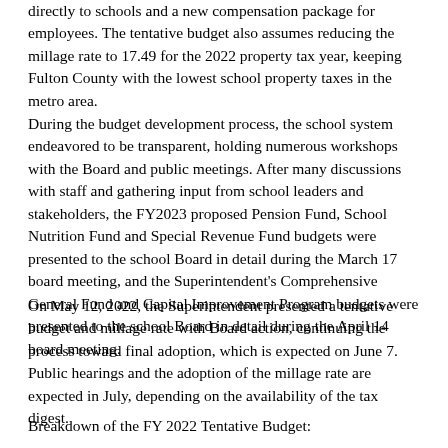directly to schools and a new compensation package for employees. The tentative budget also assumes reducing the millage rate to 17.49 for the 2022 property tax year, keeping Fulton County with the lowest school property taxes in the metro area.
During the budget development process, the school system endeavored to be transparent, holding numerous workshops with the Board and public meetings. After many discussions with staff and gathering input from school leaders and stakeholders, the FY2023 proposed Pension Fund, School Nutrition Fund and Special Revenue Fund budgets were presented to the school Board in detail during the March 17 board meeting, and the Superintendent's Comprehensive General Fund and Capital Improvement Program budgets were presented to the school Board in detail during the April 14 board meeting.
On May 12, 2022, the Superintendent presented a tentative budget and millage rate with Board action, continuing the process toward final adoption, which is expected on June 7. Public hearings and the adoption of the millage rate are expected in July, depending on the availability of the tax digest.
Breakdown of the FY 2022 Tentative Budget: